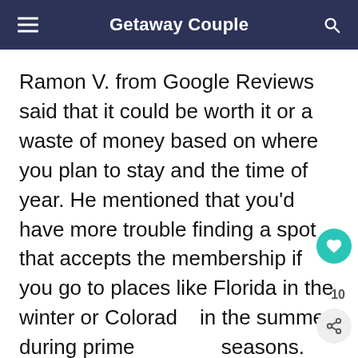Getaway Couple
Ramon V. from Google Reviews said that it could be worth it or a waste of money based on where you plan to stay and the time of year. He mentioned that you’d have more trouble finding a spot that accepts the membership if you go to places like Florida in the winter or Colorado in the summer during prime seasons.